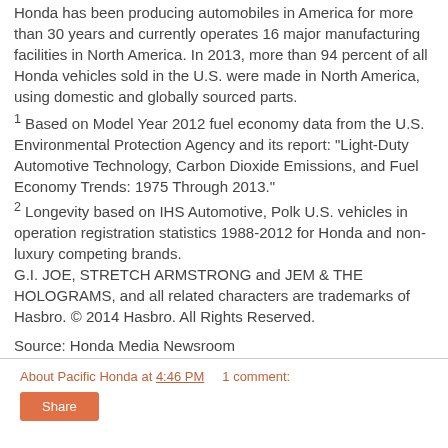Honda has been producing automobiles in America for more than 30 years and currently operates 16 major manufacturing facilities in North America. In 2013, more than 94 percent of all Honda vehicles sold in the U.S. were made in North America, using domestic and globally sourced parts.
1 Based on Model Year 2012 fuel economy data from the U.S. Environmental Protection Agency and its report: "Light-Duty Automotive Technology, Carbon Dioxide Emissions, and Fuel Economy Trends: 1975 Through 2013."
2 Longevity based on IHS Automotive, Polk U.S. vehicles in operation registration statistics 1988-2012 for Honda and non-luxury competing brands.
G.I. JOE, STRETCH ARMSTRONG and JEM & THE HOLOGRAMS, and all related characters are trademarks of Hasbro. © 2014 Hasbro. All Rights Reserved.
Source: Honda Media Newsroom
About Pacific Honda at 4:46 PM    1 comment: